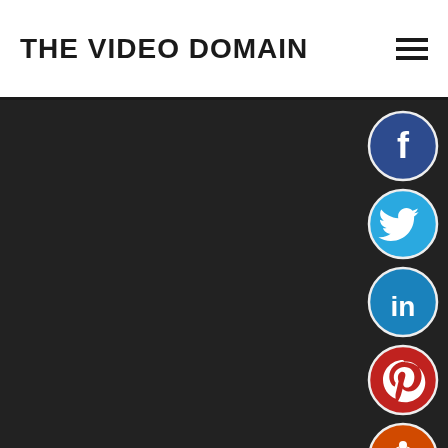THE VIDEO DOMAIN
[Figure (illustration): Social media icon buttons: Facebook (dark blue), Twitter (light blue), LinkedIn (blue), Pinterest (red), Reddit (orange-red), Blogger (orange), and a gray 'more' button with ellipsis, arranged vertically on the right side of a dark background]
[Figure (logo): Hamburger menu icon (three horizontal lines) in the top right of the header]